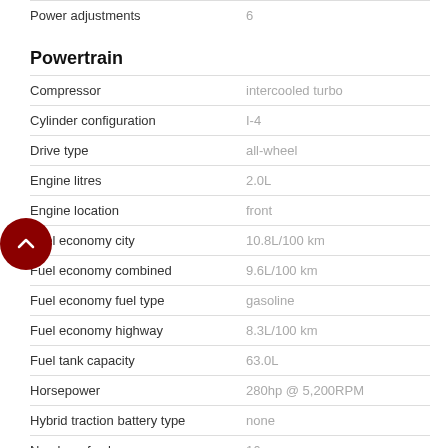| Feature | Value |
| --- | --- |
| Power adjustments | 6 |
Powertrain
| Feature | Value |
| --- | --- |
| Compressor | intercooled turbo |
| Cylinder configuration | I-4 |
| Drive type | all-wheel |
| Engine litres | 2.0L |
| Engine location | front |
| Fuel economy city | 10.8L/100 km |
| Fuel economy combined | 9.6L/100 km |
| Fuel economy fuel type | gasoline |
| Fuel economy highway | 8.3L/100 km |
| Fuel tank capacity | 63.0L |
| Horsepower | 280hp @ 5,200RPM |
| Hybrid traction battery type | none |
| Number of valves | 16 |
| Recommended fuel | Premium Unleaded |
| Torque | 306 lb.-ft. @ 2,000RPM |